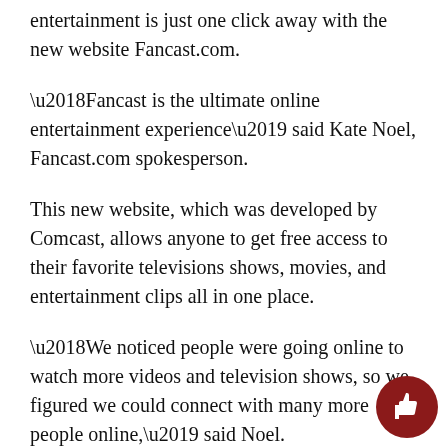entertainment is just one click away with the new website Fancast.com.
‘Fancast is the ultimate online entertainment experience’ said Kate Noel, Fancast.com spokesperson.
This new website, which was developed by Comcast, allows anyone to get free access to their favorite televisions shows, movies, and entertainment clips all in one place.
‘We noticed people were going online to watch more videos and television shows, so we figured we could connect with many more people online,’ said Noel.
Comcast is connected to all of the major networks as they have been serving the public through cable for over 40 years. The next ideal step was to start a si online. This site allows users to access items from